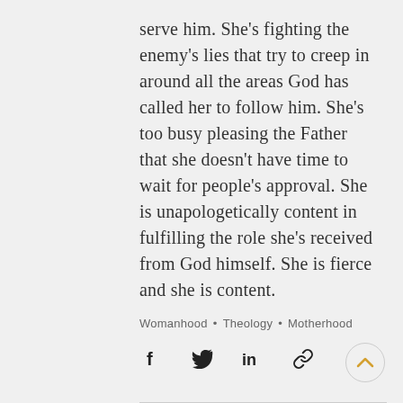serve him. She's fighting the enemy's lies that try to creep in around all the areas God has called her to follow him. She's too busy pleasing the Father that she doesn't have time to wait for people's approval. She is unapologetically content in fulfilling the role she's received from God himself. She is fierce and she is content.
Womanhood • Theology • Motherhood
[Figure (other): Social sharing icons: Facebook, Twitter, LinkedIn, link/copy icon, and a back-to-top chevron button]